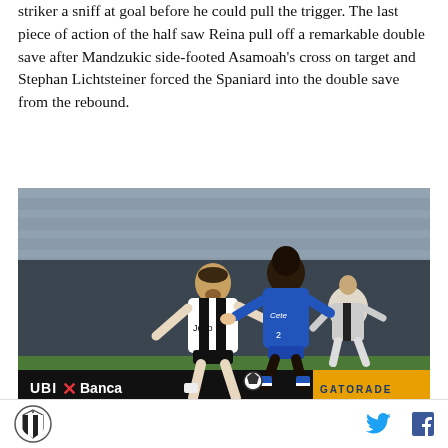striker a sniff at goal before he could pull the trigger. The last piece of action of the half saw Reina pull off a remarkable double save after Mandzukic side-footed Asamoah's cross on target and Stephan Lichtsteiner forced the Spaniard into the double save from the rebound.
[Figure (photo): Two soccer players contesting for the ball — one in black-and-white Juventus kit, another in blue Napoli kit — on a pitch with stadium crowd in background. Advertising boards show UBI Banca and Gatorade.]
Juventus logo icon | Twitter icon | Facebook icon